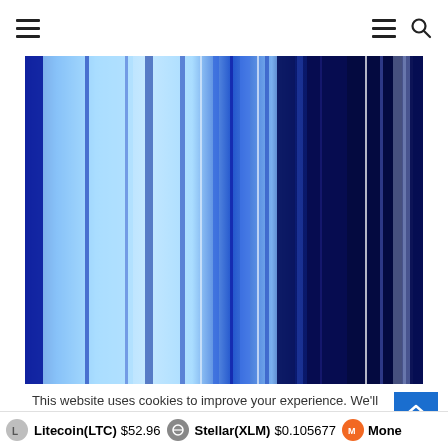Navigation header with hamburger menu (left), hamburger menu and search icon (right)
[Figure (illustration): Abstract vertical striped image with varying shades of blue — light blue on the left transitioning to dark navy blue on the right, with some bright blue and white thin vertical lines scattered throughout]
This website uses cookies to improve your experience. We'll assume you're ok with this, but you can opt-out if you w
Litecoin(LTC) $52.96   Stellar(XLM) $0.105677   Mone